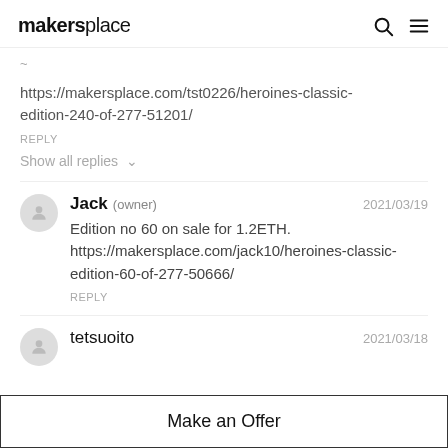makersplace
https://makersplace.com/tst0226/heroines-classic-edition-240-of-277-51201/
REPLY
Show all replies
Jack (owner) 2021/03/19
Edition no 60 on sale for 1.2ETH.
https://makersplace.com/jack10/heroines-classic-edition-60-of-277-50666/
REPLY
tetsuoito 2021/03/18
Make an Offer